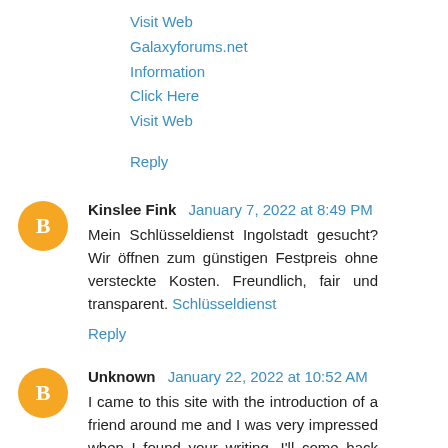Visit Web
Galaxyforums.net
Information
Click Here
Visit Web
Reply
Kinslee Fink  January 7, 2022 at 8:49 PM
Mein Schlüsseldienst Ingolstadt gesucht? Wir öffnen zum günstigen Festpreis ohne versteckte Kosten. Freundlich, fair und transparent. Schlüsseldienst
Reply
Unknown  January 22, 2022 at 10:52 AM
I came to this site with the introduction of a friend around me and I was very impressed when I found your writing. I'll come back often after bookmarking! 🙏🙏🙏🙏
Reply